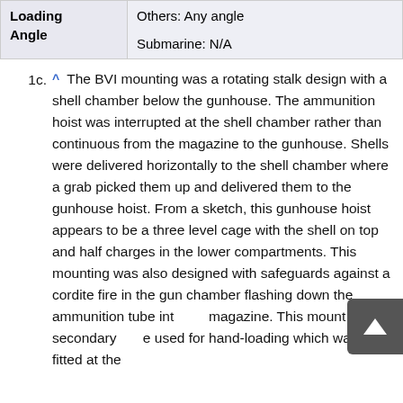| Loading Angle |  |
| --- | --- |
| Loading Angle | Others: Any angle

Submarine: N/A |
1c. ^ The BVI mounting was a rotating stalk design with a shell chamber below the gunhouse. The ammunition hoist was interrupted at the shell chamber rather than continuous from the magazine to the gunhouse. Shells were delivered horizontally to the shell chamber where a grab picked them up and delivered them to the gunhouse hoist. From a sketch, this gunhouse hoist appears to be a three level cage with the shell on top and half charges in the lower compartments. This mounting was also designed with safeguards against a cordite fire in the gun chamber flashing down the ammunition tube into the magazine. This mount had a secondary use for hand-loading which was fitted at the